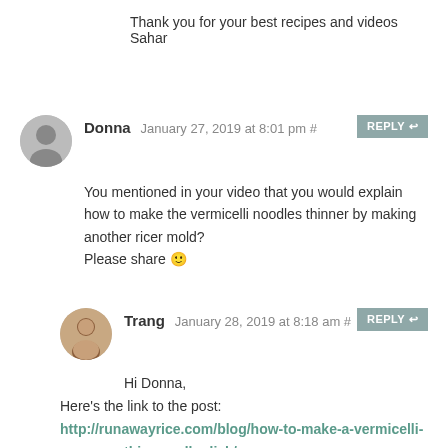Thank you for your best recipes and videos
Sahar
Donna January 27, 2019 at 8:01 pm #
You mentioned in your video that you would explain how to make the vermicelli noodles thinner by making another ricer mold?
Please share 🙂
Trang January 28, 2019 at 8:18 am #
Hi Donna,
Here's the link to the post:
http://runawayrice.com/blog/how-to-make-a-vermicelli-thin-noodle-disk/
It's a fun project and I hope you make one! 🙂